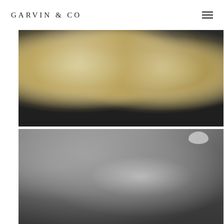GARVIN & CO
[Figure (photo): Close-up overhead photo of crumb-topped muffins dusted with powdered sugar sitting in a dark muffin tin]
[Figure (photo): Black and white photo of a bearded man kissing a baby girl wearing a bow headband]